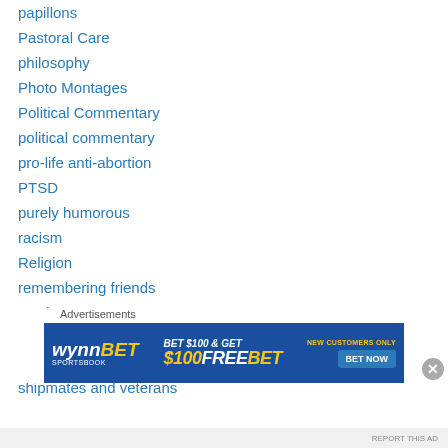papillons
Pastoral Care
philosophy
Photo Montages
Political Commentary
political commentary
pro-life anti-abortion
PTSD
purely humorous
racism
Religion
remembering friends
russia
satire
School stories
shipmates and veterans
Advertisements
[Figure (screenshot): WynnBET Sportsbook advertisement banner: BET $100 & GET $100 FREE BET, NEW CUSTOMERS ONLY, BET NOW button]
REPORT THIS AD